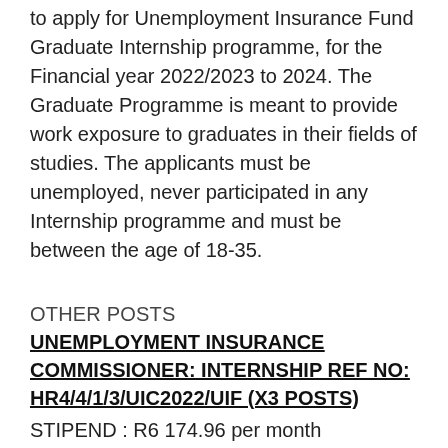to apply for Unemployment Insurance Fund Graduate Internship programme, for the Financial year 2022/2023 to 2024. The Graduate Programme is meant to provide work exposure to graduates in their fields of studies. The applicants must be unemployed, never participated in any Internship programme and must be between the age of 18-35.
OTHER POSTS
UNEMPLOYMENT INSURANCE COMMISSIONER: INTERNSHIP REF NO: HR4/4/1/3/UIC2022/UIF (X3 POSTS)
STIPEND : R6 174.96 per month
CENTRE : Unemployment Insurance Fund: Pretoria
REQUIREMENTS : A three-year tertiary qualification in Secretariat Studies, Office Administration, Office Management (N...